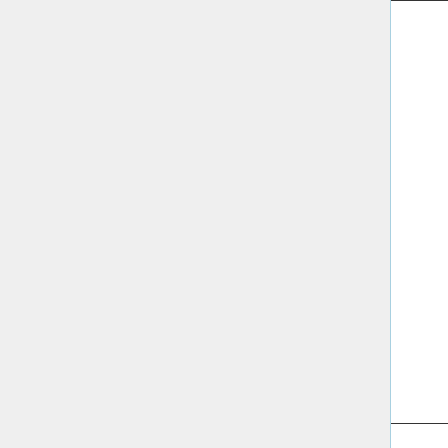|  | # | Parameter Name | Description |
| --- | --- | --- | --- |
|  |  |  | data
Reco
valu
min
or 1(
(= 3
You
data
high
temp
reso
ever
this 
HUG
files |
|  | 6 | Input_Opt%ND49_IMIN
Input_Opt%ND49_IMAX | The
whic
dete
long |